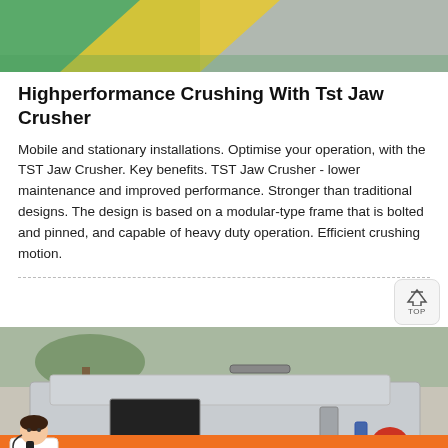[Figure (photo): Top portion of an image showing green and gray surfaces with a yellow diagonal stripe, likely industrial machinery or equipment background.]
Highperformance Crushing With Tst Jaw Crusher
Mobile and stationary installations. Optimise your operation, with the TST Jaw Crusher. Key benefits. TST Jaw Crusher - lower maintenance and improved performance. Stronger than traditional designs. The design is based on a modular-type frame that is bolted and pinned, and capable of heavy duty operation. Efficient crushing motion.
[Figure (photo): Photo of a jaw crusher machine, silver/metallic colored, viewed from above and slightly to the side, showing the crushing chamber opening, mounted on a wheeled frame with springs and colored cylinders visible, positioned outdoors on concrete.]
Message
Online Chat